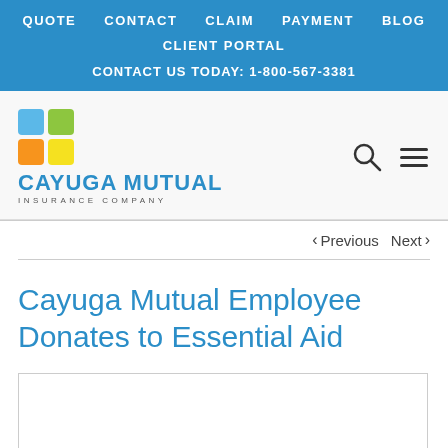QUOTE  CONTACT  CLAIM  PAYMENT  BLOG  CLIENT PORTAL  CONTACT US TODAY: 1-800-567-3381
[Figure (logo): Cayuga Mutual Insurance Company logo with four colored squares (blue, green, orange, yellow) and company name]
< Previous   Next >
Cayuga Mutual Employee Donates to Essential Aid
[Figure (photo): Article image placeholder (white box with border)]